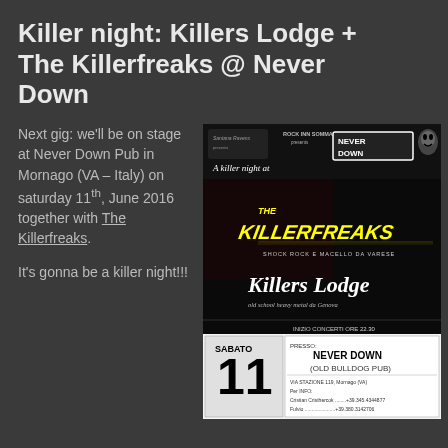Killer night: Killers Lodge + The Killerfreaks @ Never Down
Next gig: we'll be on stage at Never Down Pub in Mornago (VA – Italy) on saturday 11th, June 2016 together with The Killerfreaks.
It's gonna be a killer night!!!
[Figure (illustration): Concert event flyer for 'A Killer Night at Never Down'. Features horror-themed imagery (Freddy Krueger, Jason Voorhees). Bands: THE KILLERFREAKS (Shock Rock E Macello Da Varese) and Killers Lodge (old school heavy metal da Genova). Date: Sabato 11. Inizio Concerti Ore 22.30. Presso: Never Down (Old Bulldog Pub), Via Stazione 119, Mornago (VA). Contact info: Cristian Cristhercok, Fulvio.]